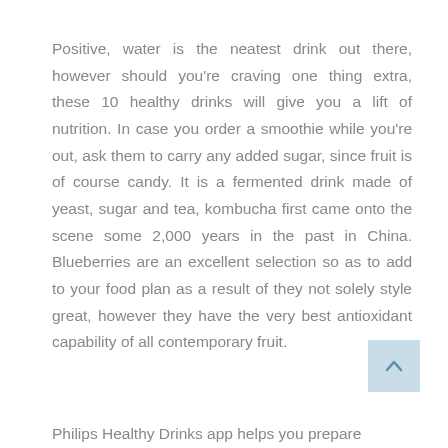Positive, water is the neatest drink out there, however should you're craving one thing extra, these 10 healthy drinks will give you a lift of nutrition. In case you order a smoothie while you're out, ask them to carry any added sugar, since fruit is of course candy. It is a fermented drink made of yeast, sugar and tea, kombucha first came onto the scene some 2,000 years in the past in China. Blueberries are an excellent selection so as to add to your food plan as a result of they not solely style great, however they have the very best antioxidant capability of all contemporary fruit.
Philips Healthy Drinks app helps you prepare